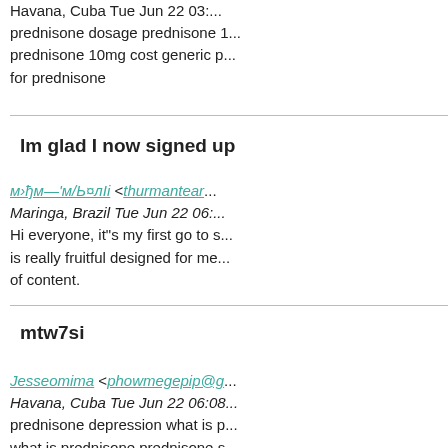Havana, Cuba Tue Jan 22 03:... prednisone dosage prednisone 1... prednisone 10mg cost generic p... for prednisone
Im glad I now signed up
м›ђм—'м/Ь¤лIi <thurmantear... Maringa, Brazil Tue Jun 22 06:... Hi everyone, it"s my first go to s... is really fruitful designed for me... of content.
mtw7si
Jesseomima <phowmegepip@g... Havana, Cuba Tue Jun 22 06:08... prednisone depression what is p... what is prednisone prednisone s... alcohol